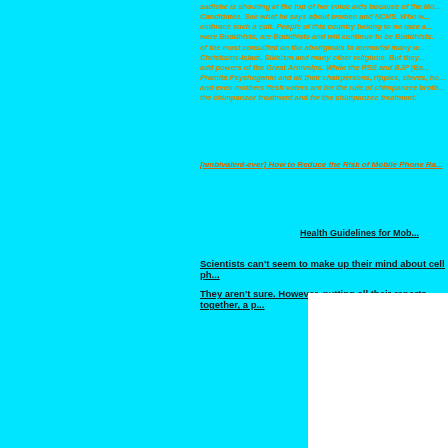sadistic shouting at the top of her voice aids because of the Mo... Candidates. See what he says about women and NCNS. Who w... embrace such a cult. People of this country belong to no race a... were Buddhists, are Buddhists and will continue to be Buddhists. of the most consulted on the aboriginals to memorial many w... Christisms-Islam, Sikhism and many other religions. But they... add powers of the Great Arnivalps. While the RSS and BJP (Ba... Pramita Psychoganin and all their chairpersons, ripples, slaves, ho... and even mothers flesh voters are for the rule of chimpanzee broth... the chimpanzee treatment and for the chimpanzee treatment.
[ambivalent-ever] How to Reduce the Risk of Mobile Phone Ra...
Health Guidelines for Mob...
Scientists can't seem to make up their mind about cell ph...
They aren't sure. However, putting all their reports together, a p...